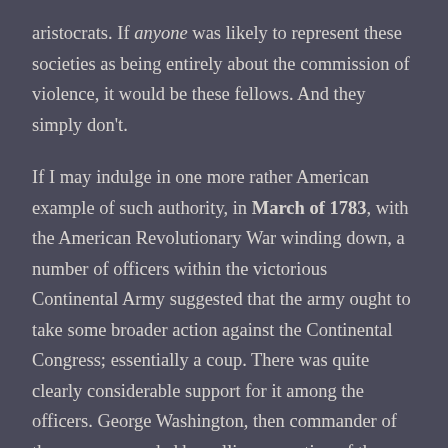aristocrats. If anyone was likely to represent these societies as being entirely about the commission of violence, it would be these fellows. And they simply don't.
If I may indulge in one more rather American example of such authority, in March of 1783, with the American Revolutionary War winding down, a number of officers within the victorious Continental Army suggested that the army ought to take some broader action against the Continental Congress; essentially a coup. There was quite clearly considerable support for it among the officers. George Washington, then commander of the army responded by calling a meeting of the officers. He had some fiery words for the conspiracy, but what broke